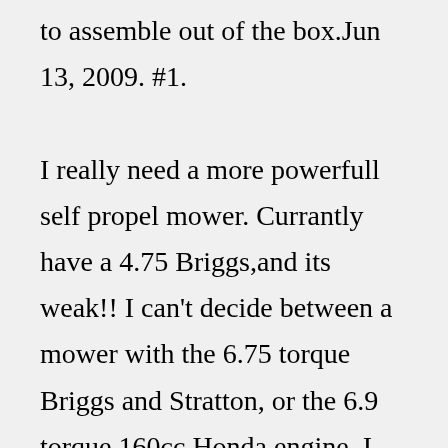to assemble out of the box.Jun 13, 2009. #1. I really need a more powerfull self propel mower. Currantly have a 4.75 Briggs,and its weak!! I can't decide between a mower with the 6.75 torque Briggs and Stratton, or the 6.9 torque 160cc Honda engine. I am interested in hearing from people who have used both engines, and they're opininions.1. Husqvarna Hydrostatic 46-in. Riding Lawn Mower. Riding lawn mowers are an investment, and we believe the Husqvarna